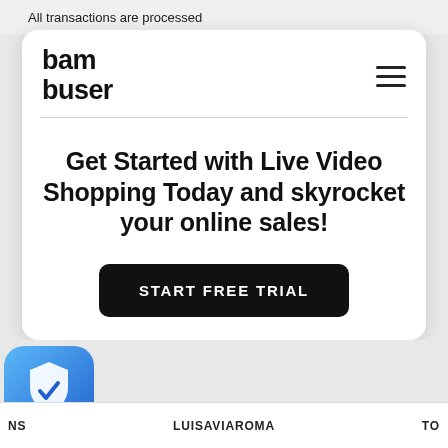All transactions are processed
[Figure (screenshot): Bambuser website screenshot showing navigation bar with logo and hamburger menu]
Get Started with Live Video Shopping Today and skyrocket your online sales!
START FREE TRIAL
[Figure (logo): Blue shield with checkmark icon (security/VPN app)]
NS   LUISAVIAROMA   TO